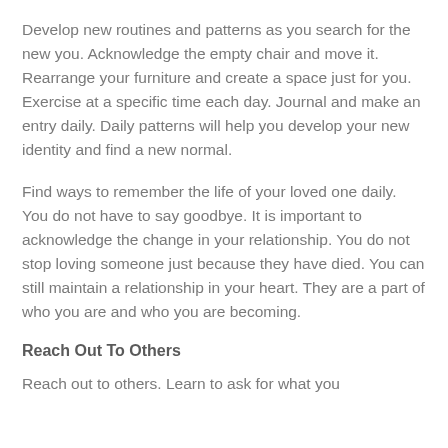Develop new routines and patterns as you search for the new you.  Acknowledge the empty chair and move it.  Rearrange your furniture and create a space just for you.  Exercise at a specific time each day.  Journal and make an entry daily.  Daily patterns will help you develop your new identity and find a new normal.
Find ways to remember the life of your loved one daily.  You do not have to say goodbye.  It is important to acknowledge the change in your relationship.  You do not stop loving someone just because they have died.  You can still maintain a relationship in your heart.  They are a part of who you are and who you are becoming.
Reach Out To Others
Reach out to others.  Learn to ask for what you